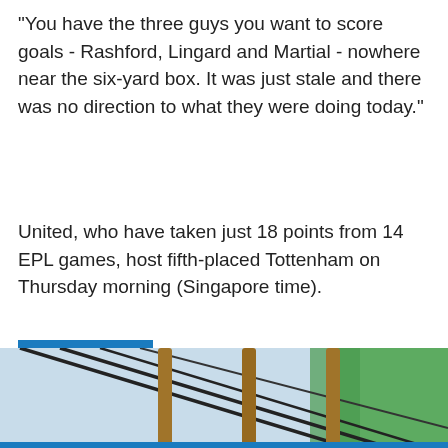"You have the three guys you want to score goals - Rashford, Lingard and Martial - nowhere near the six-yard box. It was just stale and there was no direction to what they were doing today."
United, who have taken just 18 points from 14 EPL games, host fifth-placed Tottenham on Thursday morning (Singapore time).
FOOTBALL
[Figure (infographic): Social media share icons: Facebook (blue circle), Twitter (light blue circle), WhatsApp (green circle with phone icon), Email (orange circle with envelope icon)]
[Figure (photo): Bottom portion of an image showing what appears to be diagonal cables or wires against a light blue sky background, with a green area visible on the right side. Partially cropped.]